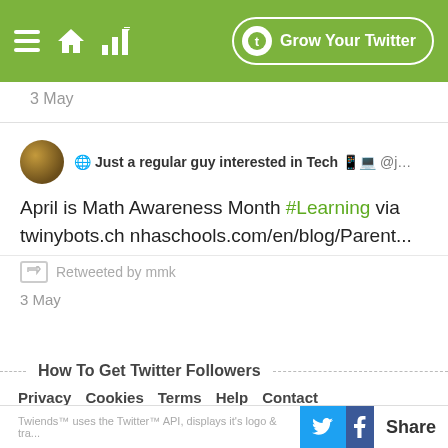Grow Your Twitter
3 May
🌐 Just a regular guy interested in Tech 📱💻 @j…
April is Math Awareness Month #Learning via twinybots.ch nhaschools.com/en/blog/Parent...
Retweeted by mmk
3 May
How To Get Twitter Followers
Privacy  Cookies  Terms  Help  Contact
Twiends™ uses the Twitter™ API, displays it's logo & tra...